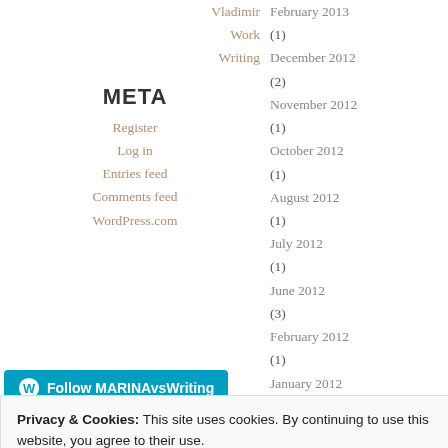Vladimir
Work
Writing
META
Register
Log in
Entries feed
Comments feed
WordPress.com
February 2013 (1)
December 2012 (2)
November 2012 (1)
October 2012 (1)
August 2012 (1)
July 2012 (1)
June 2012 (3)
February 2012 (1)
January 2012 (2)
December 2011 (4)
November 2011 (2)
October 2011 (4)
September 2011 (1)
July 2011 (3)
June 2011 (2)
April 2011 (4)
[Figure (logo): WordPress Follow button: Follow MARINAvsWriting]
Privacy & Cookies: This site uses cookies. By continuing to use this website, you agree to their use. To find out more, including how to control cookies, see here: Cookie Policy
Close and accept